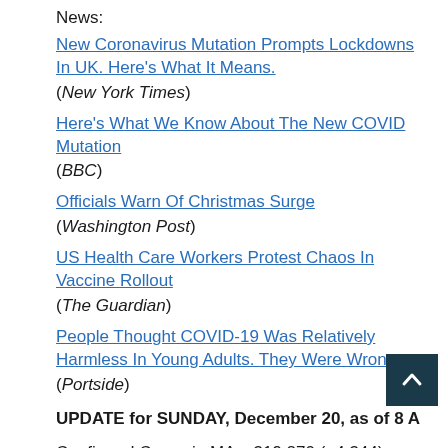News:
New Coronavirus Mutation Prompts Lockdowns In UK. Here's What It Means. (New York Times)
Here's What We Know About The New COVID Mutation (BBC)
Officials Warn Of Christmas Surge (Washington Post)
US Health Care Workers Protest Chaos In Vaccine Rollout (The Guardian)
People Thought COVID-19 Was Relatively Harmless In Young Adults. They Were Wrong (Portside)
UPDATE for SUNDAY, December 20, as of 8 A
Confirmed Cases in MA – 319,270 (+4,344)